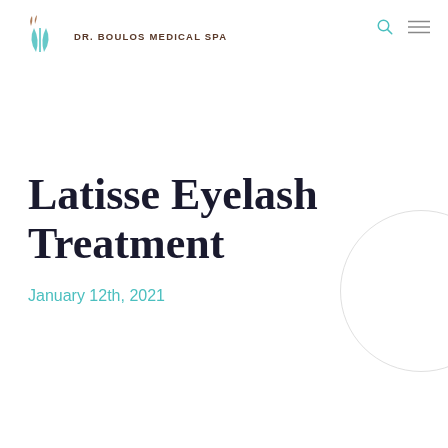DR. BOULOS MEDICAL SPA
Latisse Eyelash Treatment
January 12th, 2021